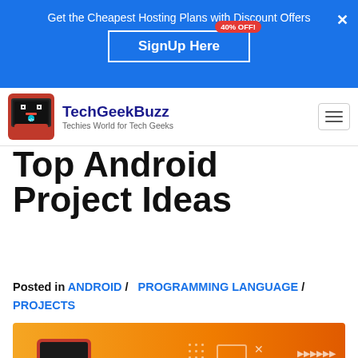Get the Cheapest Hosting Plans with Discount Offers
SignUp Here  40% OFF!
[Figure (logo): TechGeekBuzz site logo — hacker with laptop on red background]
TechGeekBuzz
Techies World for Tech Geeks
Top Android Project Ideas
Posted in ANDROID / PROGRAMMING LANGUAGE / PROJECTS
[Figure (illustration): Orange banner illustration with TechGeekBuzz logo, decorative elements, and a smartphone/browser graphic]